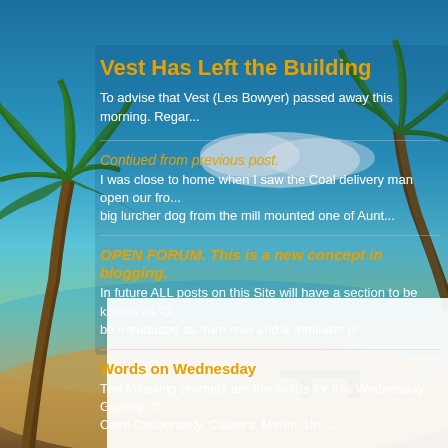Vest Has Left the Building
To advise that Vest (Les Bowyer) passed away this morning. Regar...
Contiued from previous post.
I was close to home when I saw the Coal delivery man open our fro... big lurcher dog from the mill mounted one of Aunt...
OPEN FORUM. This is a new concept in blogging.
In future ALL posts on this Site will have a section to be known as 'O... be introduced as from now and a reminder of ...
Words on Wednesday
The following prompts are the words for this Wednesday. Glinting. C... Cave Deliberately. Caldera. Merlin. Uni...
[Figure (photo): Tropical beach background with palm trees, blue sky, ocean, white sand, and beach chair at bottom]